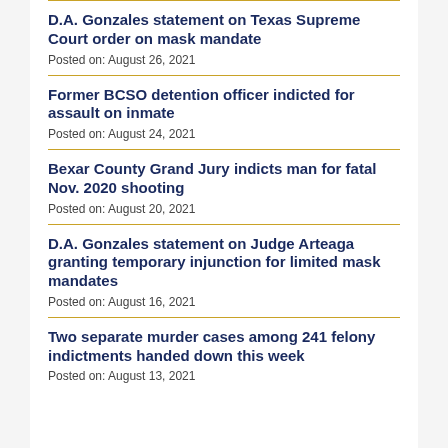D.A. Gonzales statement on Texas Supreme Court order on mask mandate
Posted on: August 26, 2021
Former BCSO detention officer indicted for assault on inmate
Posted on: August 24, 2021
Bexar County Grand Jury indicts man for fatal Nov. 2020 shooting
Posted on: August 20, 2021
D.A. Gonzales statement on Judge Arteaga granting temporary injunction for limited mask mandates
Posted on: August 16, 2021
Two separate murder cases among 241 felony indictments handed down this week
Posted on: August 13, 2021